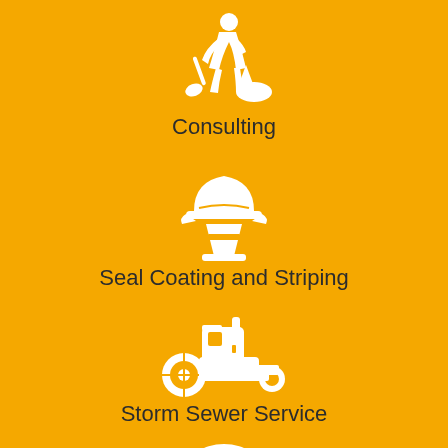[Figure (illustration): White icon of a construction worker with a shovel on yellow background]
Consulting
[Figure (illustration): White icon of a hard hat with traffic cone on yellow background]
Seal Coating and Striping
[Figure (illustration): White icon of a road roller / paving machine on yellow background]
Storm Sewer Service
[Figure (illustration): White icon of a concrete mixer truck on yellow background (partially visible)]